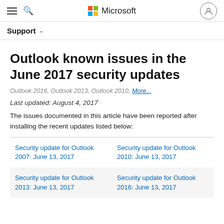Microsoft Support
Support
Outlook known issues in the June 2017 security updates
Outlook 2016, Outlook 2013, Outlook 2010, More...
Last updated: August 4, 2017
The issues documented in this article have been reported after installing the recent updates listed below:
Security update for Outlook 2007: June 13, 2017
Security update for Outlook 2010: June 13, 2017
Security update for Outlook 2013: June 13, 2017
Security update for Outlook 2016: June 13, 2017